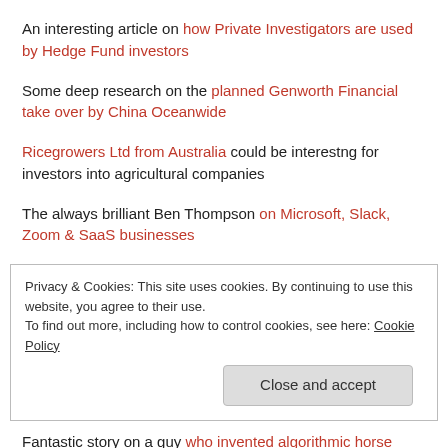An interesting article on how Private Investigators are used by Hedge Fund investors
Some deep research on the planned Genworth Financial take over by China Oceanwide
Ricegrowers Ltd from Australia could be interestng for investors into agricultural companies
The always brilliant Ben Thompson on Microsoft, Slack, Zoom & SaaS businesses
Privacy & Cookies: This site uses cookies. By continuing to use this website, you agree to their use.
To find out more, including how to control cookies, see here: Cookie Policy
Fantastic story on a guy who invented algorithmic horse